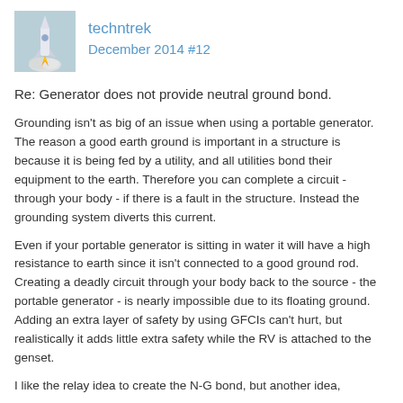[Figure (photo): Avatar image of a rocket launching, used as user profile picture for techntrek]
techntrek
December 2014 #12
Re: Generator does not provide neutral ground bond.
Grounding isn't as big of an issue when using a portable generator. The reason a good earth ground is important in a structure is because it is being fed by a utility, and all utilities bond their equipment to the earth. Therefore you can complete a circuit - through your body - if there is a fault in the structure. Instead the grounding system diverts this current.
Even if your portable generator is sitting in water it will have a high resistance to earth since it isn't connected to a good ground rod. Creating a deadly circuit through your body back to the source - the portable generator - is nearly impossible due to its floating ground. Adding an extra layer of safety by using GFCIs can't hurt, but realistically it adds little extra safety while the RV is attached to the genset.
I like the relay idea to create the N-G bond, but another idea,